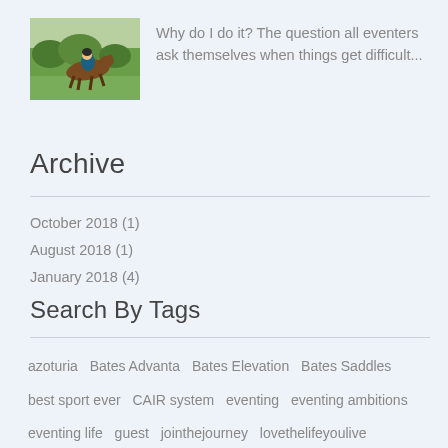[Figure (photo): A horse and rider at an eventing competition, running across a green field]
Why do I do it? The question all eventers ask themselves when things get difficult...
Archive
October 2018 (1)
August 2018 (1)
January 2018 (4)
Search By Tags
azoturia   Bates Advanta   Bates Elevation   Bates Saddles   best sport ever   CAIR system   eventing   eventing ambitions   eventing life   guest   jointhejourney   lovethelifeyoulive